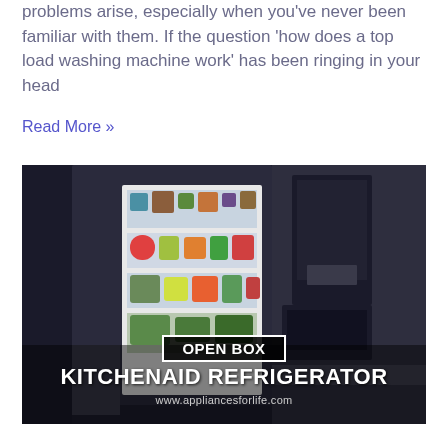problems arise, especially when you've never been familiar with them. If the question 'how does a top load washing machine work' has been ringing in your head
Read More »
[Figure (photo): Open refrigerator with food inside, overlaid with text 'OPEN BOX KITCHENAID REFRIGERATOR' and website URL www.appliancesforlife.com]